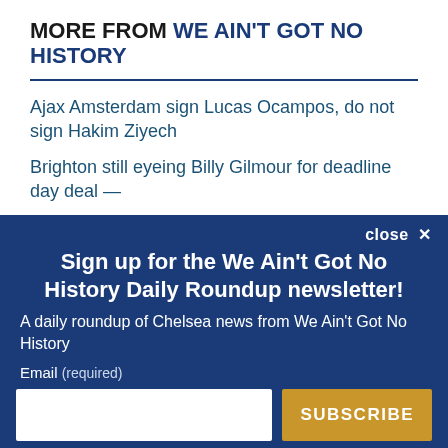MORE FROM WE AIN'T GOT NO HISTORY
Ajax Amsterdam sign Lucas Ocampos, do not sign Hakim Ziyech
Brighton still eyeing Billy Gilmour for deadline day deal —
Sign up for the We Ain't Got No History Daily Roundup newsletter!
A daily roundup of Chelsea news from We Ain't Got No History
Email (required)
SUBSCRIBE
By submitting your email, you agree to our Terms and Privacy Notice. You can opt out at any time. This site is protected by reCAPTCHA and the Google Privacy Policy and Terms of Service apply.